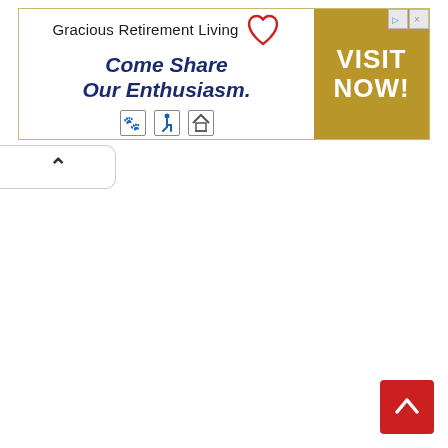[Figure (other): Advertisement banner for Gracious Retirement Living with tagline 'Come Share Our Enthusiasm.' and a gold 'VISIT NOW!' call-to-action panel on the right. Includes small icons (pet-friendly, wheelchair accessible, equal housing). Small ad indicator icons in top-right corner.]
[Figure (other): Collapse/minimize tab button with an upward-pointing caret arrow, positioned at the left edge below the ad banner.]
[Figure (other): Scroll-to-top button: red square with white upward-pointing chevron arrow, positioned at bottom-right corner.]